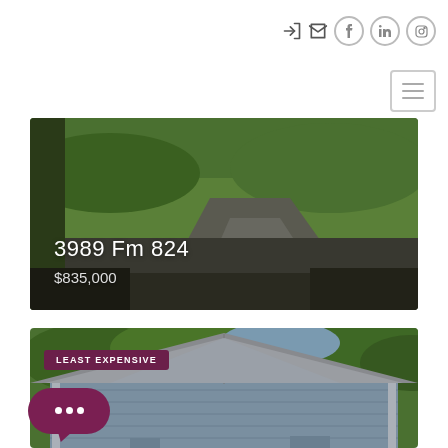[Figure (screenshot): Navigation header with login, mail, Facebook, LinkedIn, and Instagram icons, plus hamburger menu button]
[Figure (photo): Aerial/ground view of a property with grass lawn and gravel driveway. Overlay text shows address '3989 Fm 824' and price '$835,000']
3989 Fm 824
$835,000
[Figure (photo): Front exterior of a blue/grey house with gabled roof, trees in background. Badge reads 'LEAST EXPENSIVE'. Chat bubble button visible in bottom left.]
LEAST EXPENSIVE